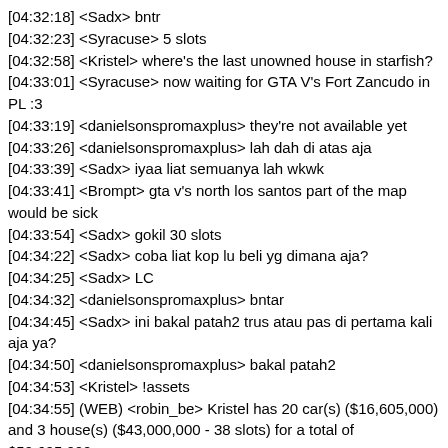[04:32:18] <Sadx> bntr
[04:32:23] <Syracuse> 5 slots
[04:32:58] <Kristel> where's the last unowned house in starfish?
[04:33:01] <Syracuse> now waiting for GTA V's Fort Zancudo in PL :3
[04:33:19] <danielsonspromaxplus> they're not available yet
[04:33:26] <danielsonspromaxplus> lah dah di atas aja
[04:33:39] <Sadx> iyaa liat semuanya lah wkwk
[04:33:41] <Brompt> gta v's north los santos part of the map would be sick
[04:33:54] <Sadx> gokil 30 slots
[04:34:22] <Sadx> coba liat kop lu beli yg dimana aja?
[04:34:25] <Sadx> LC
[04:34:32] <danielsonspromaxplus> bntar
[04:34:45] <Sadx> ini bakal patah2 trus atau pas di pertama kali aja ya?
[04:34:50] <danielsonspromaxplus> bakal patah2
[04:34:53] <Kristel> !assets
[04:34:55] (WEB) <robin_be> Kristel has 20 car(s) ($16,605,000) and 3 house(s) ($43,000,000 - 38 slots) for a total of $59,605,000
[04:35:00] <Kristel> !houses
[04:35:03] (WEB) <robin_be> Richman: $11,000,000 11 slots Queens: $17,000,000 15 slots Washington Beach: $15,000,000 12 slots
[04:35:06] <Syracuse> time to explore LC